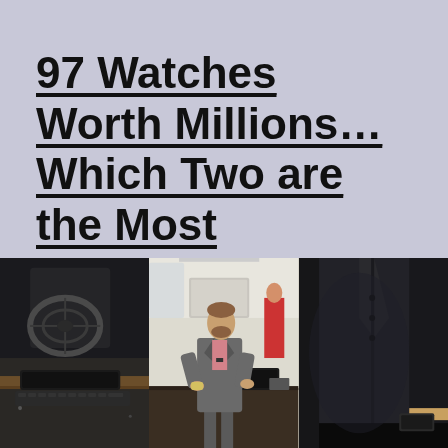97 Watches Worth Millions…Which Two are the Most Expensive?
[Figure (photo): Three side-by-side photos: left panel shows a dark interior with a desk and keyboard/case; center panel shows a man in a grey suit and pink shirt examining a watch at a counter in what appears to be a watch store or office; right panel shows a close-up of a dark suit jacket with a phone visible.]